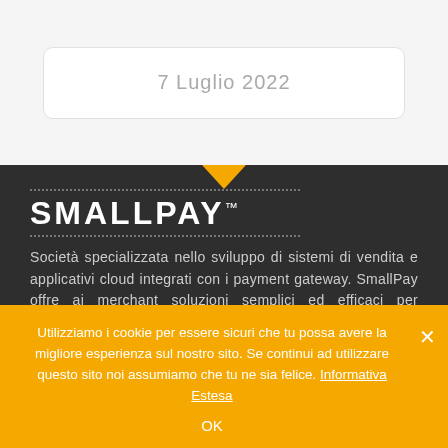7 Luglio 2022
[Figure (logo): SmallPay logo with dotted lines above and below on dark background]
Società specializzata nello sviluppo di sistemi di vendita e applicativi cloud integrati con i payment gateway. SmallPay offre ai merchant soluzioni semplici ed efficaci per rateizzare le proprie vendite sulla carta di credito dei propri clienti a
Utilizziamo i cookie per essere sicuri che tu possa avere la migliore esperienza sul nostro sito. Se continui ad utilizzare questo sito noi assumiamo che tu ne sia felice. Informativa Estesa
OK